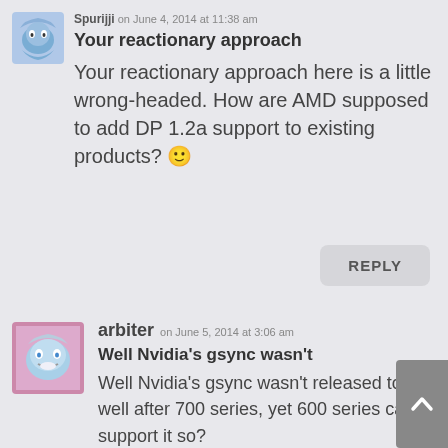[Figure (illustration): User avatar icon for Spurijji - blue cartoon character with a hood]
Spurijji on June 4, 2014 at 11:38 am
Your reactionary approach
Your reactionary approach here is a little wrong-headed. How are AMD supposed to add DP 1.2a support to existing products? 🙂
REPLY
[Figure (illustration): User avatar icon for arbiter - blue smiling cartoon face]
arbiter on June 5, 2014 at 3:06 am
Well Nvidia's gsync wasn't
Well Nvidia's gsync wasn't released to well after 700 series, yet 600 series cards support it so?